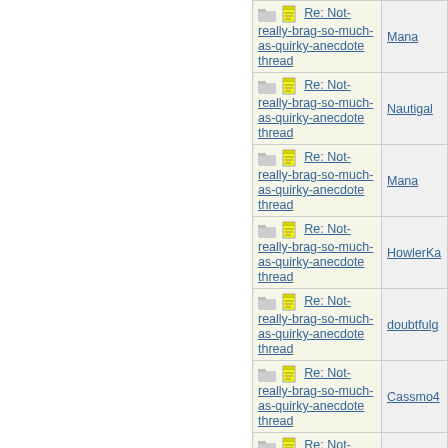| Topic | Author |
| --- | --- |
| Re: Not-really-brag-so-much-as-quirky-anecdote thread | Mana |
| Re: Not-really-brag-so-much-as-quirky-anecdote thread | Nautigal |
| Re: Not-really-brag-so-much-as-quirky-anecdote thread | Mana |
| Re: Not-really-brag-so-much-as-quirky-anecdote thread | HowlerKa |
| Re: Not-really-brag-so-much-as-quirky-anecdote thread | doubtfulg |
| Re: Not-really-brag-so-much-as-quirky-anecdote thread | Cassmo4 |
| Re: Not-really-brag-so-much-as-quirky-anecdote thread | Mana |